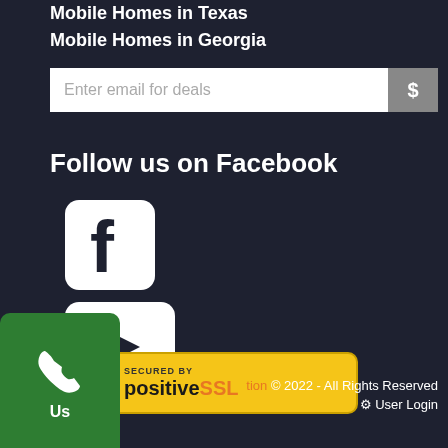Mobile Homes in Texas
Mobile Homes in Georgia
Enter email for deals
Follow us on Facebook
[Figure (logo): Facebook logo icon - white rounded square with dark 'f' letterform]
[Figure (logo): YouTube logo icon - white rounded rectangle with dark play triangle]
[Figure (logo): PositiveSSL security badge - yellow/gold rounded rectangle with 'SECURED BY positiveSSL' text]
[Figure (illustration): Green call button with phone handset icon and 'Us' label]
tion © 2022 - All Rights Reserved  ⚙ User Login